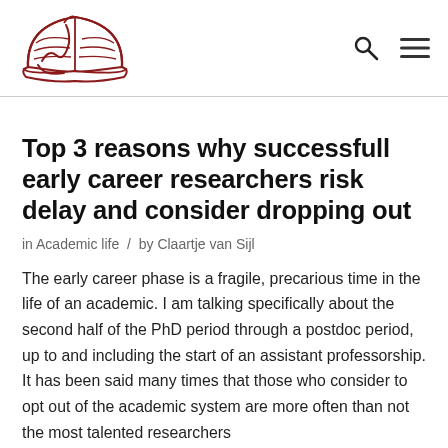[Figure (logo): Open book logo with a road/path and snake imagery, drawn in dark red/maroon outlines on white background]
Top 3 reasons why successfull early career researchers risk delay and consider dropping out
in Academic life  /  by Claartje van Sijl
The early career phase is a fragile, precarious time in the life of an academic. I am talking specifically about the second half of the PhD period through a postdoc period, up to and including the start of an assistant professorship. It has been said many times that those who consider to opt out of the academic system are more often than not the most talented researchers